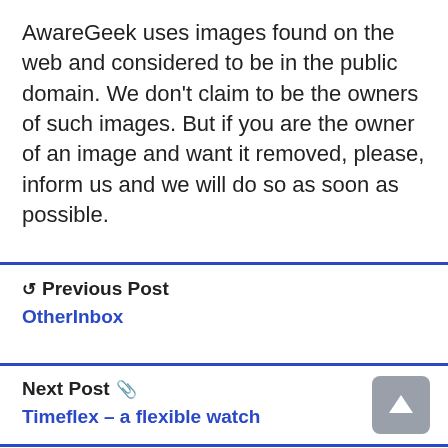AwareGeek uses images found on the web and considered to be in the public domain. We don't claim to be the owners of such images. But if you are the owner of an image and want it removed, please, inform us and we will do so as soon as possible.
Previous Post
OtherInbox
Next Post
Timeflex – a flexible watch